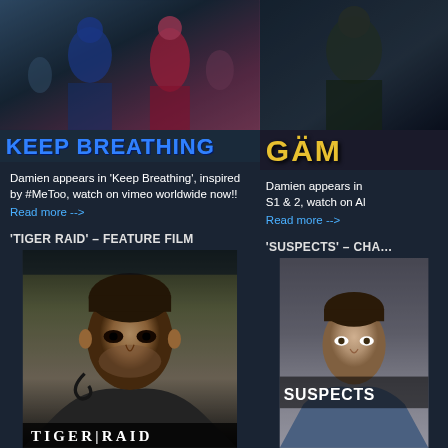[Figure (photo): Film scene photo for Keep Breathing showing people dancing or embracing]
[Figure (photo): Film/show image for GAM (partially visible title), dark background]
KEEP BREATHING
GÄM (partially visible)
Damien appears in 'Keep Breathing', inspired by #MeToo, watch on vimeo worldwide now!!
Read more -->
Damien appears in ... S1 & 2, watch on Al...
Read more -->
'TIGER RAID' – FEATURE FILM
'SUSPECTS' – CHA...
[Figure (photo): Actor close-up for Tiger Raid feature film, gritty and intense, with TIGER|RAID text overlay at bottom]
[Figure (photo): Actor photo for Suspects TV show with SUSPECTS text overlay]